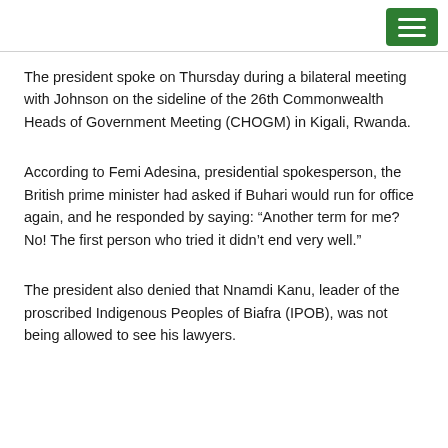The president spoke on Thursday during a bilateral meeting with Johnson on the sideline of the 26th Commonwealth Heads of Government Meeting (CHOGM) in Kigali, Rwanda.
According to Femi Adesina, presidential spokesperson, the British prime minister had asked if Buhari would run for office again, and he responded by saying: “Another term for me? No! The first person who tried it didn’t end very well.”
The president also denied that Nnamdi Kanu, leader of the proscribed Indigenous Peoples of Biafra (IPOB), was not being allowed to see his lawyers.